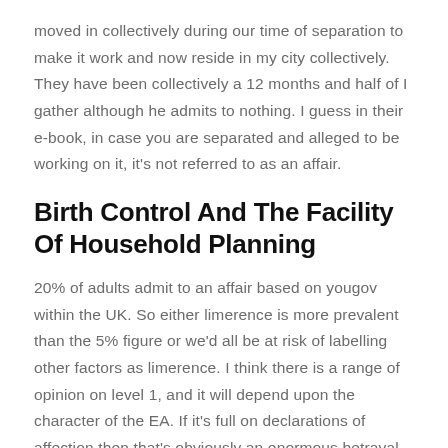moved in collectively during our time of separation to make it work and now reside in my city collectively. They have been collectively a 12 months and half of I gather although he admits to nothing. I guess in their e-book, in case you are separated and alleged to be working on it, it's not referred to as an affair.
Birth Control And The Facility Of Household Planning
20% of adults admit to an affair based on yougov within the UK. So either limerence is more prevalent than the 5% figure or we'd all be at risk of labelling other factors as limerence. I think there is a range of opinion on level 1, and it will depend upon the character of the EA. If it's full on declarations of affection then that's obviously an enormous betrayal, however there [chevron] as many easy purple lines as for a PA, so maybe that's w[dots]le demonize it extra. If you've got bodily, then there's no gray area